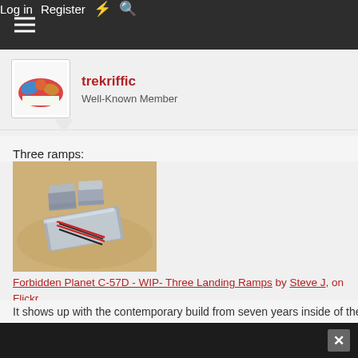Log in  Register
trekriffic
Well-Known Member
Three ramps:
[Figure (photo): Photo of three small metal landing ramps with red and black wiring on a tan/brown surface]
Forbidden Planet C-57D - WIP- Three Landing Ramps by Steve J, on Flickr
It shows up with the contemporary build from seven years inside of the